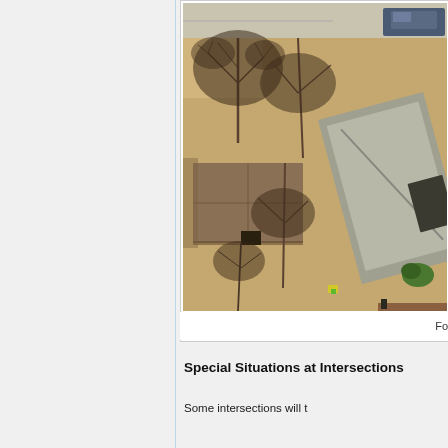[Figure (photo): Aerial/satellite view looking down at residential houses and bare trees in a neighborhood. Two houses with gray roofs are visible along with sandy/dirt ground and leafless trees. A car is partially visible in the upper right corner.]
Fo...
Special Situations at Intersections
Some text about intersections will t...